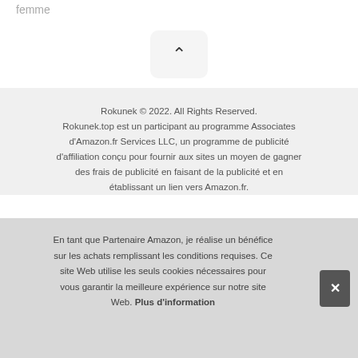femme
[Figure (other): A rounded square button with an upward-pointing chevron (^) symbol in dark color on a light grey background]
Rokunek © 2022. All Rights Reserved.
Rokunek.top est un participant au programme Associates d'Amazon.fr Services LLC, un programme de publicité d'affiliation conçu pour fournir aux sites un moyen de gagner des frais de publicité en faisant de la publicité et en établissant un lien vers Amazon.fr.
En tant que Partenaire Amazon, je réalise un bénéfice sur les achats remplissant les conditions requises. Ce site Web utilise les seuls cookies nécessaires pour vous garantir la meilleure expérience sur notre site Web. Plus d'information